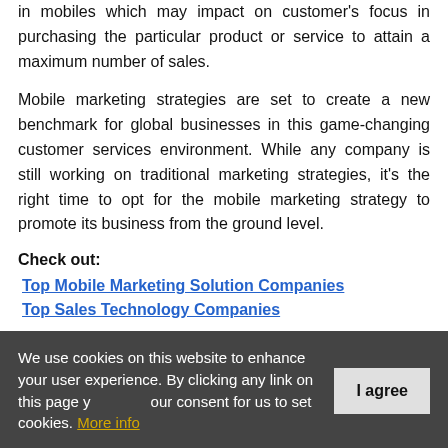in mobiles which may impact on customer's focus in purchasing the particular product or service to attain a maximum number of sales.
Mobile marketing strategies are set to create a new benchmark for global businesses in this game-changing customer services environment. While any company is still working on traditional marketing strategies, it's the right time to opt for the mobile marketing strategy to promote its business from the ground level.
Check out:
Top Mobile Marketing Solution Companies
Top Sales Technology Companies
We use cookies on this website to enhance your user experience. By clicking any link on this page you give your consent for us to set cookies. More info